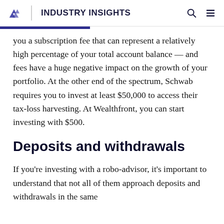INDUSTRY INSIGHTS
you a subscription fee that can represent a relatively high percentage of your total account balance — and fees have a huge negative impact on the growth of your portfolio. At the other end of the spectrum, Schwab requires you to invest at least $50,000 to access their tax-loss harvesting. At Wealthfront, you can start investing with $500.
Deposits and withdrawals
If you're investing with a robo-advisor, it's important to understand that not all of them approach deposits and withdrawals in the same